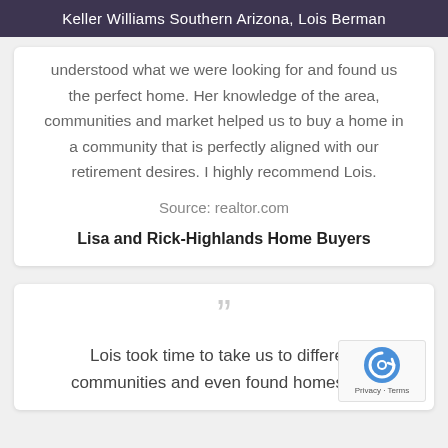Keller Williams Southern Arizona, Lois Berman
understood what we were looking for and found us the perfect home. Her knowledge of the area, communities and market helped us to buy a home in a community that is perfectly aligned with our retirement desires. I highly recommend Lois.
Source: realtor.com
Lisa and Rick-Highlands Home Buyers
””
Lois took time to take us to different communities and even found homes that